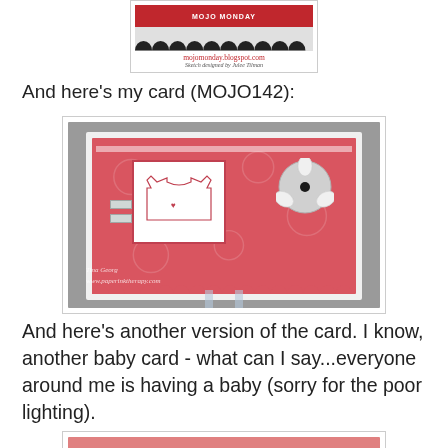[Figure (photo): Top portion of a Mojo Monday blog sketch card with scalloped border, mojomonday.blogspot.com URL and 'Sketch designed by Julee Tilman' caption]
And here's my card (MOJO142):
[Figure (photo): Handmade baby card on a craft stand. Coral/pink card with embossed floral background, white square panel with a baby onesie stamp, decorative flower embellishment, ribbon tabs on the left, and scalloped border at the bottom. Watermark reads 'Tina Georg' and 'www.paperinktherapy.com']
And here's another version of the card. I know, another baby card - what can I say...everyone around me is having a baby (sorry for the poor lighting).
[Figure (photo): Bottom portion showing the top edge of another version of the baby card, partially visible with coral/pink color]